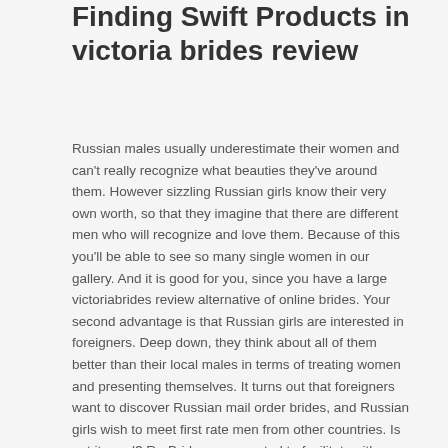Finding Swift Products in victoria brides review
Russian males usually underestimate their women and can't really recognize what beauties they've around them. However sizzling Russian girls know their very own worth, so that they imagine that there are different men who will recognize and love them. Because of this you'll be able to see so many single women in our gallery. And it is good for you, since you have a large victoriabrides review alternative of online brides. Your second advantage is that Russian girls are interested in foreigners. Deep down, they think about all of them better than their local males in terms of treating women and presenting themselves. It turns out that foreigners want to discover Russian mail order brides, and Russian girls wish to meet first rate men from other countries. Is not it good? Ru-Brides was created to facilitate either side.